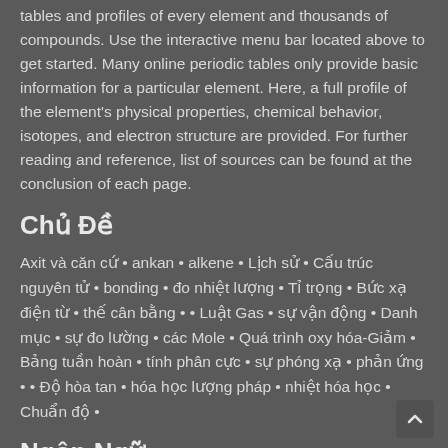tables and profiles of every element and thousands of compounds. Use the interactive menu bar located above to get started. Many online periodic tables only provide basic information for a particular element. Here, a full profile of the element's physical properties, chemical behavior, isotopes, and electron structure are provided. For further reading and reference, list of sources can be found at the conclusion of each page.
Chủ Đề
Axit và căn cứ • ankan • alkene • Lịch sử • Cấu trúc nguyên tử • bonding • đo nhiệt lượng • Tỉ trọng • Bức xạ điện từ • thế cân bằng • • Luật Gas • sự vận động • Danh mục • sự đo lường • các Mole • Quá trình oxy hóa-Giảm • Bảng tuần hoàn • tính phân cực • sự phóng xạ • phản ứng • • Độ hòa tan • hóa học lượng pháp • nhiệt hóa học • Chuẩn độ •
Ngôn Ngữ
Afrikaans • Deutsch • English • Español • Français • •